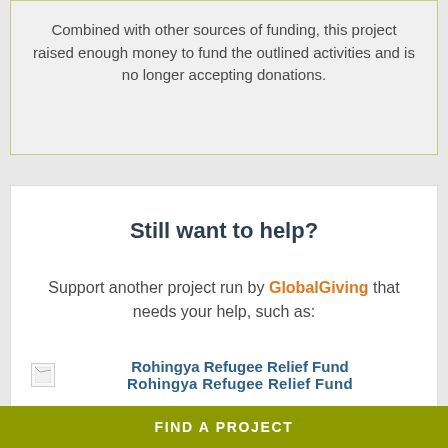Combined with other sources of funding, this project raised enough money to fund the outlined activities and is no longer accepting donations.
Still want to help?
Support another project run by GlobalGiving that needs your help, such as:
Rohingya Refugee Relief Fund
Rohingya Refugee Relief Fund
FIND A PROJECT